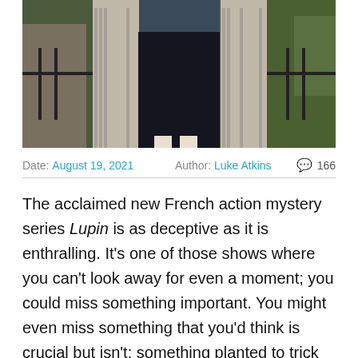[Figure (photo): A person in dark clothing standing between large stone columns on a balcony or terrace, viewed from behind. Green trees and railings visible in the background.]
Date: August 19, 2021   Author: Luke Atkins   💬 166
The acclaimed new French action mystery series Lupin is as deceptive as it is enthralling. It's one of those shows where you can't look away for even a moment; you could miss something important. You might even miss something that you'd think is crucial but isn't: something planted to trick you. It's a maze. But it doesn't hit you all at once. The tricks up the show's sleeve are part of a vast expanse of crazy twists. Omar Sy is superb in the